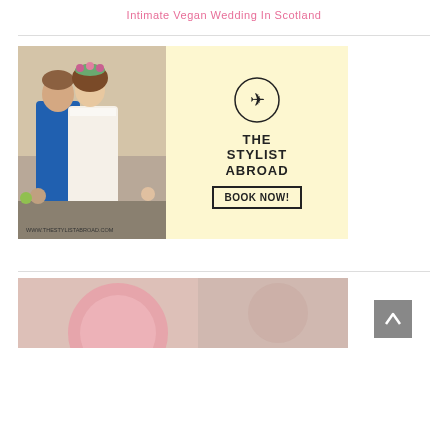Intimate Vegan Wedding In Scotland
[Figure (illustration): Advertisement banner for The Stylist Abroad. Left half shows a couple embracing outdoors, the woman wearing a white lace dress and flower crown, the man in blue. Right half has a light yellow background with a circle containing an airplane icon, text reading 'THE STYLIST ABROAD', and a 'BOOK NOW!' button. URL www.thestylistabroad.com shown at bottom left.]
[Figure (photo): Partial photo showing a pink or light colored round object, possibly a floral arrangement or dessert, with a soft blurred background.]